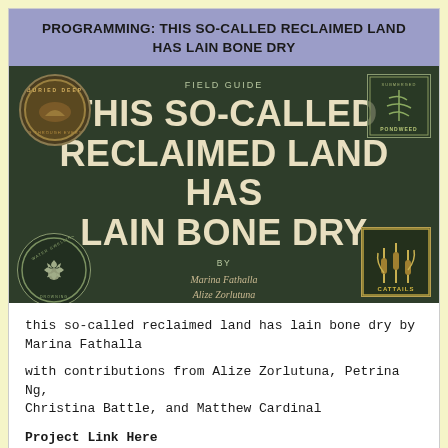PROGRAMMING: THIS SO-CALLED RECLAIMED LAND HAS LAIN BONE DRY
[Figure (illustration): Book cover for 'This So-Called Reclaimed Land Has Lain Bone Dry' — a field guide with dark green background, decorative nature badges (Buried Deep, Pondweed, Cattails, Water Swelling), large white uppercase title text, and italic author names: Marina Fathalla, Alize Zorlutuna, Petrina Ng, Christina Battle, Matthew Cardinal]
this so-called reclaimed land has lain bone dry by Marina Fathalla
with contributions from Alize Zorlutuna, Petrina Ng, Christina Battle, and Matthew Cardinal
Project Link Here